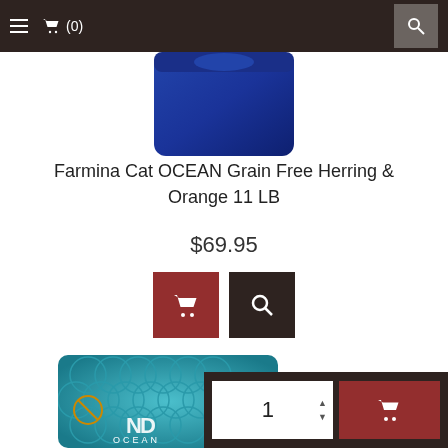≡ 🛒 (0)  🔍
[Figure (photo): Top portion of Farmina N&D Ocean cat food bag in blue, partially visible at top of page]
Farmina Cat OCEAN Grain Free Herring & Orange 11 LB
$69.95
[Figure (screenshot): Two action buttons: red cart button and dark search button]
[Figure (photo): Farmina N&D Ocean cat food pouch/bag bottom portion showing teal fish scale pattern with N&D Ocean branding and a quantity/add-to-cart widget overlay]